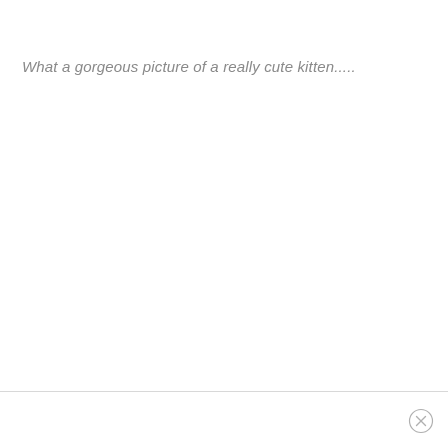What a gorgeous picture of a really cute kitten.....
[Figure (other): Close button icon (circle with X) in the bottom-right corner of the page, below a horizontal divider line]